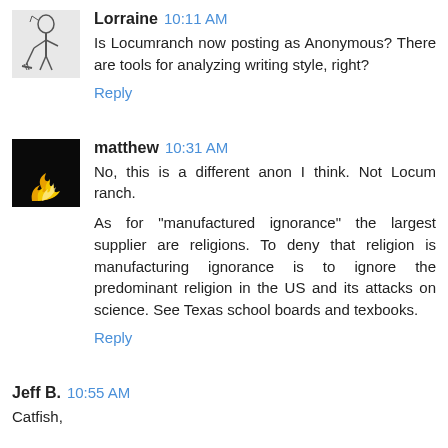[Figure (illustration): Small sketch avatar of a person with a broom or figure, black and white line art]
Lorraine 10:11 AM
Is Locumranch now posting as Anonymous? There are tools for analyzing writing style, right?
Reply
[Figure (photo): Dark square avatar image showing orange/yellow flames against a black background]
matthew 10:31 AM
No, this is a different anon I think. Not Locum ranch.
As for "manufactured ignorance" the largest supplier are religions. To deny that religion is manufacturing ignorance is to ignore the predominant religion in the US and its attacks on science. See Texas school boards and texbooks.
Reply
Jeff B. 10:55 AM
Catfish,